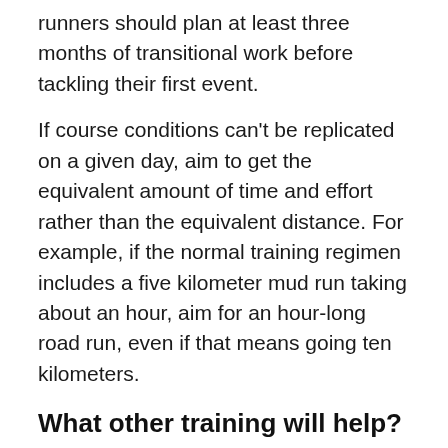runners should plan at least three months of transitional work before tackling their first event.
If course conditions can't be replicated on a given day, aim to get the equivalent amount of time and effort rather than the equivalent distance. For example, if the normal training regimen includes a five kilometer mud run taking about an hour, aim for an hour-long road run, even if that means going ten kilometers.
What other training will help?
Hill training builds leg strength, enforce proper form and help break tempo. This is particularly important when learning control for safe dirt running, particularly when controlling descents. Being able to